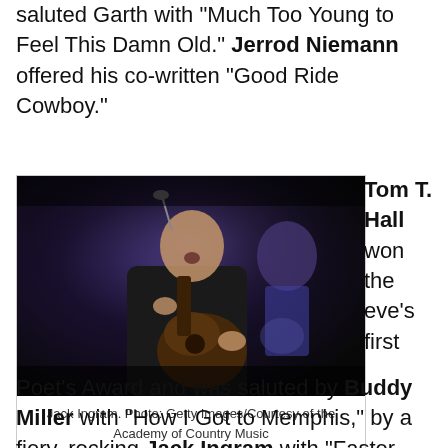saluted Garth with "Much Too Young to Feel This Damn Old." Jerrod Niemann offered his co-written "Good Ride Cowboy."
[Figure (photo): Jack Ingram performing on stage, playing acoustic guitar and singing into a microphone, wearing a dark jacket. Another musician visible in background with purple stage lighting.]
Jack Ingram. Photo: Getty Images/Courtesy of the Academy of Country Music
Tom T. Hall won the eve's first
Poet's Award and was saluted by Buddy Miller with "How I Got to Memphis," by a fiery, rocking Jack Ingram with "Faster Horses" and by Lee Ann